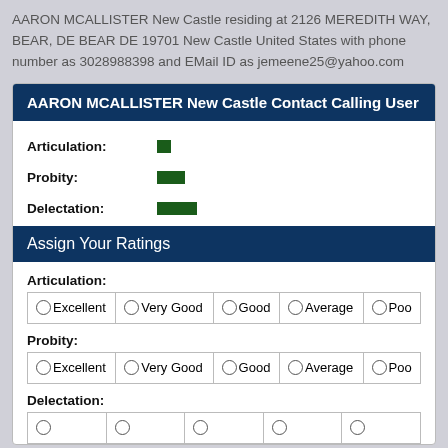AARON MCALLISTER New Castle residing at 2126 MEREDITH WAY, BEAR, DE BEAR DE 19701 New Castle United States with phone number as 3028988398 and EMail ID as jemeene25@yahoo.com
AARON MCALLISTER New Castle Contact Calling User
Articulation: [bar indicator 1 unit]
Probity: [bar indicator 2 units]
Delectation: [bar indicator 3 units]
Assign Your Ratings
Articulation:
| Excellent | Very Good | Good | Average | Poor |
| --- | --- | --- | --- | --- |
| ○Excellent | ○Very Good | ○Good | ○Average | ○Poo |
Probity:
| Excellent | Very Good | Good | Average | Poor |
| --- | --- | --- | --- | --- |
| ○Excellent | ○Very Good | ○Good | ○Average | ○Poo |
Delectation:
| Excellent | Very Good | Good | Average | Poor |
| --- | --- | --- | --- | --- |
| ○ | ○ | ○ | ○ | ○ |